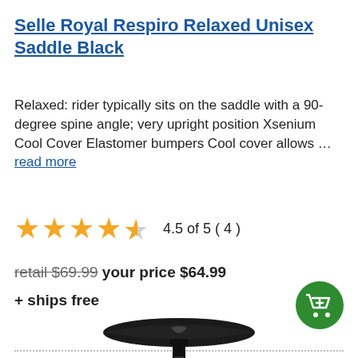Selle Royal Respiro Relaxed Unisex Saddle Black
Relaxed: rider typically sits on the saddle with a 90-degree spine angle; very upright position Xsenium Cool Cover Elastomer bumpers Cool cover allows … read more
[Figure (other): Star rating: 4.5 out of 5 stars (4 reviews). Text: 4.5 of 5 ( 4 )]
retail $69.99 your price $64.99
+ ships free
[Figure (other): Green circular add-to-cart button with cart icon]
[Figure (photo): Black bicycle saddle (Selle Royal Respiro) shown from a side/top angle against white background]